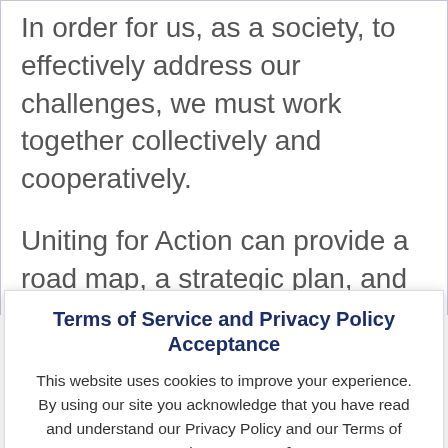In order for us, as a society, to effectively address our challenges, we must work together collectively and cooperatively.
Uniting for Action can provide a road map, a strategic plan, and supporting technology, but likeminded individuals like you, along with aligned organizations and corporations, must show up with all the power and
Terms of Service and Privacy Policy Acceptance
This website uses cookies to improve your experience. By using our site you acknowledge that you have read and understand our Privacy Policy and our Terms of Service.  Terms of Service